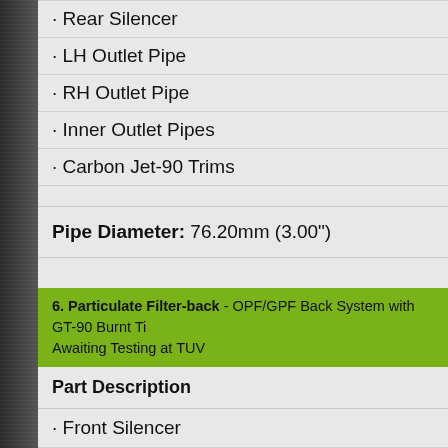· Rear Silencer
· LH Outlet Pipe
· RH Outlet Pipe
· Inner Outlet Pipes
· Carbon Jet-90 Trims
Pipe Diameter: 76.20mm (3.00")
6. Particulate Filter-back - OPF/GPF Back System with GT-90 Burnt Ti - Awaiting Testing at TUV
Part Description
· Front Silencer
· Axle Pipe
· Rear Silencer